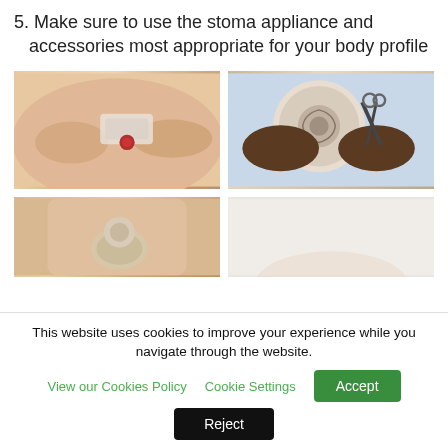5. Make sure to use the stoma appliance and accessories most appropriate for your body profile
[Figure (photo): Four video thumbnail images in a 2x2 grid showing stoma care steps: top-left shows hands measuring a stoma on the abdomen, top-right shows hands cutting a stoma flange with scissors, bottom-left shows a person's torso with a stoma bag applied, bottom-right is a partially visible light-colored image.]
This website uses cookies to improve your experience while you navigate through the website.
View our Cookies Policy   Cookie Settings   Accept
Reject